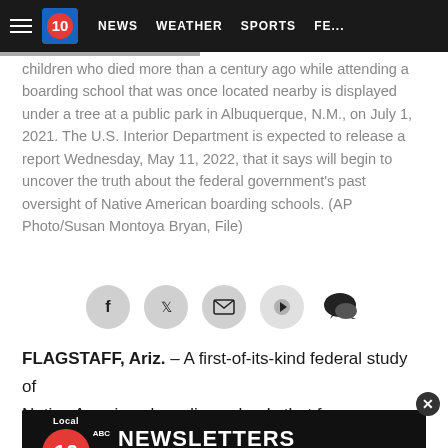NEWS   WEATHER   SPORTS   FE...
children who died more than a century ago while attending a boarding school that was once located nearby is displayed under a tree at a public park in Albuquerque, N.M., on July 1, 2021. The U.S. Interior Department is expected to release a report Wednesday, May 11, 2022, that it says will begin to uncover the truth about the federal government's past oversight of Native American boarding schools. (AP Photo/Susan Montoya Bryan, File)
[Figure (other): Social sharing buttons: Facebook, Twitter, Email, Share, Comment]
FLAGSTAFF, Ariz. – A first-of-its-kind federal study of Native American boarding schools that for over a century sought to assimilate Indigenous children into white society...
[Figure (other): Newsletter advertisement: Local 10 ABC News - NEWSLETTERS CLICK TO SUBSCRIBE]